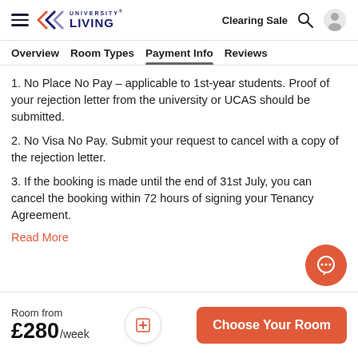University Living — Clearing Sale
Overview   Room Types   Payment Info   Reviews
1. No Place No Pay – applicable to 1st-year students. Proof of your rejection letter from the university or UCAS should be submitted.
2. No Visa No Pay. Submit your request to cancel with a copy of the rejection letter.
3. If the booking is made until the end of 31st July, you can cancel the booking within 72 hours of signing your Tenancy Agreement.
Read More
Room from £280/week
Choose Your Room